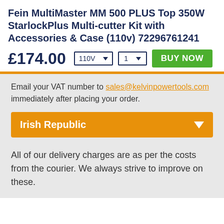Fein MultiMaster MM 500 PLUS Top 350W StarlockPlus Multi-cutter Kit with Accessories & Case (110v) 72296761241
£174.00
Email your VAT number to sales@kelvinpowertools.com immediately after placing your order.
Irish Republic
All of our delivery charges are as per the costs from the courier. We always strive to improve on these.